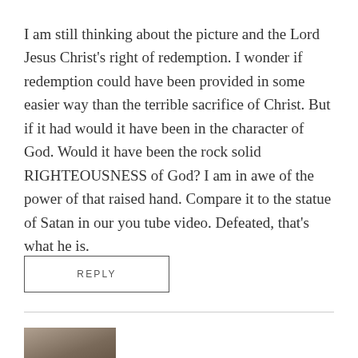I am still thinking about the picture and the Lord Jesus Christ's right of redemption. I wonder if redemption could have been provided in some easier way than the terrible sacrifice of Christ. But if it had would it have been in the character of God. Would it have been the rock solid RIGHTEOUSNESS of God? I am in awe of the power of that raised hand. Compare it to the statue of Satan in our you tube video. Defeated, that's what he is.
REPLY
[Figure (photo): Partial photo of a person with blonde hair, cropped at bottom of page]